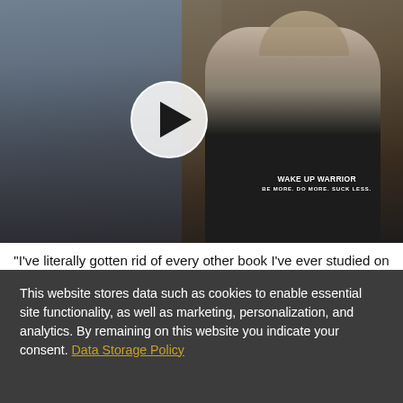[Figure (screenshot): Video thumbnail showing a man in a 'Wake Up Warrior' t-shirt with a play button overlay in the center. Background shows a blurred interior scene.]
"I've literally gotten rid of every other book I've ever studied on marketing." - Garrett J White
[Figure (photo): Partial photo strip showing the top of a person's head in an interior setting.]
This website stores data such as cookies to enable essential site functionality, as well as marketing, personalization, and analytics. By remaining on this website you indicate your consent. Data Storage Policy